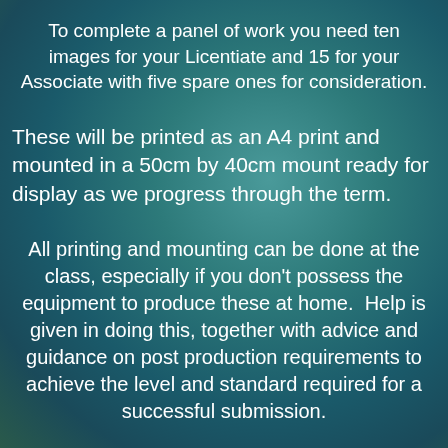To complete a panel of work you need ten images for your Licentiate and 15 for your Associate with five spare ones for consideration.
These will be printed as an A4 print and mounted in a 50cm by 40cm mount ready for display as we progress through the term.
All printing and mounting can be done at the class, especially if you don't possess the equipment to produce these at home.  Help is given in doing this, together with advice and guidance on post production requirements to achieve the level and standard required for a successful submission.